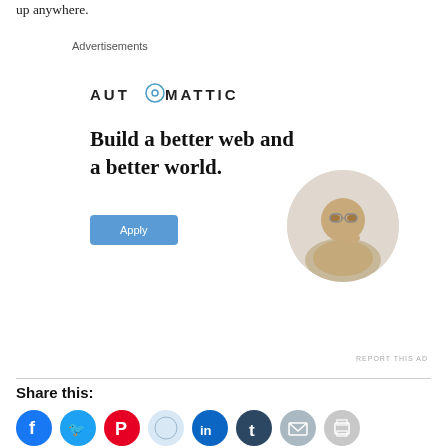up anywhere.
Advertisements
[Figure (infographic): Automattic advertisement banner with logo, 'Build a better web and a better world.' headline, Apply button, and circular photo of a man thinking]
REPORT THIS AD
Share this:
[Figure (infographic): Row of social sharing icon buttons: Facebook (blue), Twitter (light blue), Pinterest (red), Reddit (light blue), LinkedIn (dark blue), Tumblr (dark blue), Email (grey), Print (grey)]